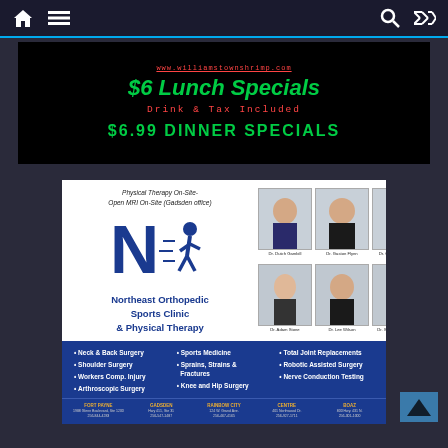Navigation bar with home, menu, search, and shuffle icons
[Figure (screenshot): Restaurant advertisement on black background showing '$6 Lunch Specials Drink & Tax Included' in green and '$6.99 DINNER SPECIALS' in green]
[Figure (photo): Northeast Orthopedic Sports Clinic & Physical Therapy advertisement with six doctor photos and services listed]
Physical Therapy On-Site- Open MRI On-Site (Gadsden office)
Northeast Orthopedic Sports Clinic & Physical Therapy
Neck & Back Surgery
Shoulder Surgery
Workers Comp. Injury
Arthroscopic Surgery
Sports Medicine
Sprains, Strains & Fractures
Knee and Hip Surgery
Total Joint Replacements
Robotic Assisted Surgery
Nerve Conduction Testing